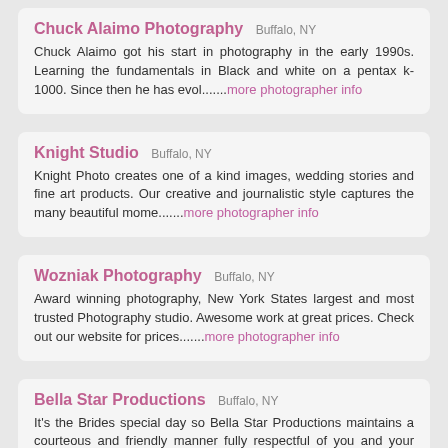Chuck Alaimo Photography Buffalo, NY — Chuck Alaimo got his start in photography in the early 1990s. Learning the fundamentals in Black and white on a pentax k-1000. Since then he has evol.......more photographer info
Knight Studio Buffalo, NY — Knight Photo creates one of a kind images, wedding stories and fine art products. Our creative and journalistic style captures the many beautiful mome.......more photographer info
Wozniak Photography Buffalo, NY — Award winning photography, New York States largest and most trusted Photography studio. Awesome work at great prices. Check out our website for prices.......more photographer info
Bella Star Productions Buffalo, NY — It's the Brides special day so Bella Star Productions maintains a courteous and friendly manner fully respectful of you and your guests. Bella Star Pr.......more photographer info